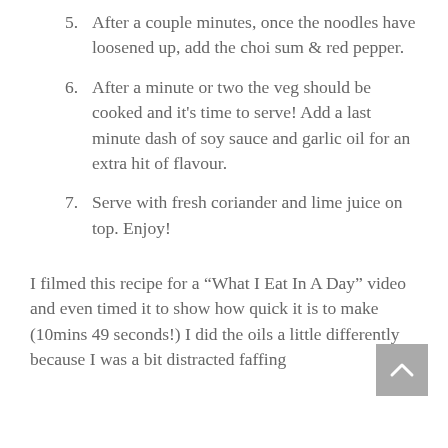5.  After a couple minutes, once the noodles have loosened up, add the choi sum & red pepper.
6.  After a minute or two the veg should be cooked and it’s time to serve! Add a last minute dash of soy sauce and garlic oil for an extra hit of flavour.
7.  Serve with fresh coriander and lime juice on top. Enjoy!
I filmed this recipe for a “What I Eat In A Day” video and even timed it to show how quick it is to make (10mins 49 seconds!) I did the oils a little differently because I was a bit distracted faffing